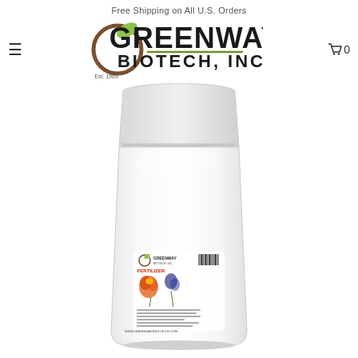Free Shipping on All U.S. Orders
[Figure (logo): Greenway Biotech, Inc. logo with circular leaf icon and text 'Est. 1989']
[Figure (photo): White resealable pouch bag of Greenway Biotech fertilizer product with colorful flower label on the front]